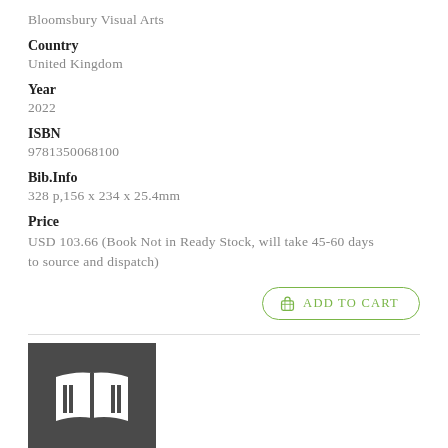Bloomsbury Visual Arts
Country
United Kingdom
Year
2022
ISBN
9781350068100
Bib.Info
328 p,156 x 234 x 25.4mm
Price
USD 103.66 (Book Not in Ready Stock, will take 45-60 days to source and dispatch)
[Figure (illustration): Book cover placeholder with open book icon on dark grey background]